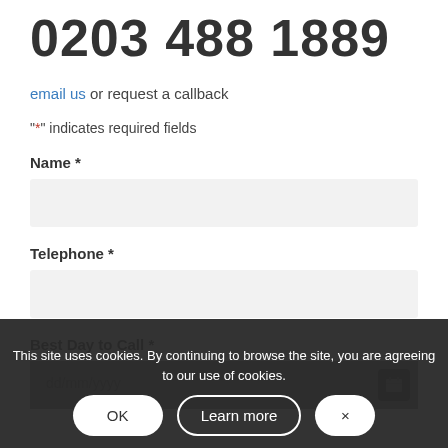0203 488 1889
email us or request a callback
"*" indicates required fields
Name *
Telephone *
Best Day to Call *
This site uses cookies. By continuing to browse the site, you are agreeing to our use of cookies.